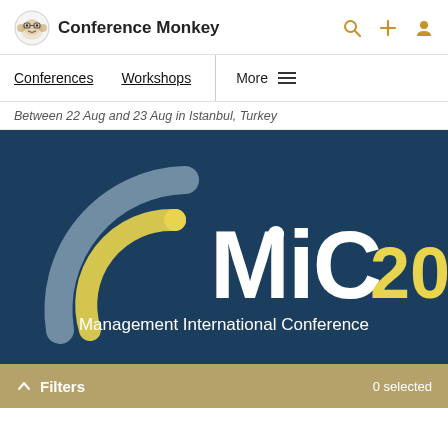Conference Monkey
Conferences  Workshops  More
Between 22 Aug and 23 Aug in Istanbul, Turkey
[Figure (logo): MiC 2017 Management International Conference logo on dark blue background with grey and yellow arc/circular graphic element]
Filters  0 selected